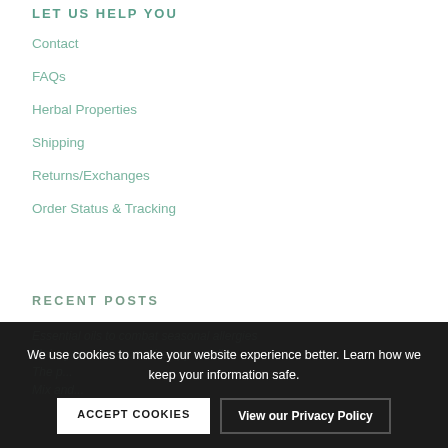LET US HELP YOU
Contact
FAQs
Herbal Properties
Shipping
Returns/Exchanges
Order Status & Tracking
RECENT POSTS
Essential oils to combat seasonal allergies
Make your own aromatherapy candles
The p...
Mix and...
We use cookies to make your website experience better. Learn how we keep your information safe.
ACCEPT COOKIES
View our Privacy Policy